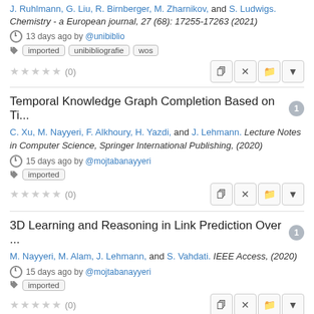J. Ruhlmann, G. Liu, R. Birnberger, M. Zharnikov, and S. Ludwigs. Chemistry - a European journal, 27 (68): 17255-17263 (2021)
13 days ago by @unibiblio
imported  unibibliografie  wos
★★★★★ (0)
Temporal Knowledge Graph Completion Based on Ti...
C. Xu, M. Nayyeri, F. Alkhoury, H. Yazdi, and J. Lehmann. Lecture Notes in Computer Science, Springer International Publishing, (2020)
15 days ago by @mojtabanayyeri
imported
★★★★★ (0)
3D Learning and Reasoning in Link Prediction Over ...
M. Nayyeri, M. Alam, J. Lehmann, and S. Vahdati. IEEE Access, (2020)
15 days ago by @mojtabanayyeri
imported
★★★★★ (0)
A Passively-Coupled 39.5 GHz Colpitts Quadrature ...
J. Wanner, A. Baskin, S. Chartier, and L. Kofman. 2021 16th...